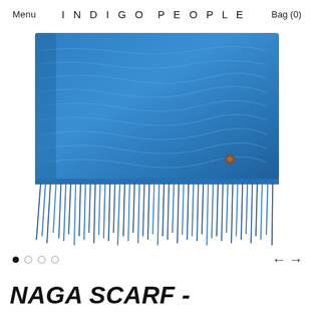Menu   INDIGO PEOPLE   Bag (0)
[Figure (photo): An indigo-dyed blue woven scarf with fringe along the bottom edge and a small brown diamond-shaped brand label near the bottom right corner.]
● ○ ○ ○    ← →
NAGA SCARF -